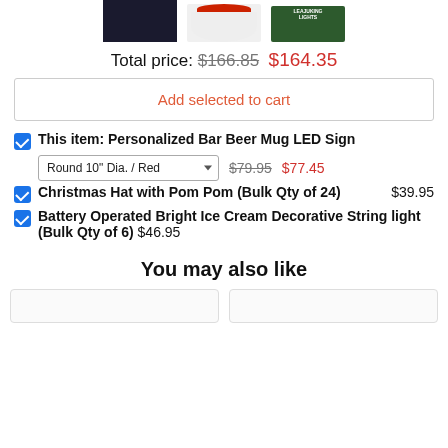[Figure (photo): Three product images: LED sign (dark background), Christmas hat with pom pom (white/red), and decorative string lights (green box)]
Total price: $166.85 $164.35
Add selected to cart
This item: Personalized Bar Beer Mug LED Sign — Round 10" Dia. / Red — $79.95 $77.45
Christmas Hat with Pom Pom (Bulk Qty of 24) $39.95
Battery Operated Bright Ice Cream Decorative String light (Bulk Qty of 6) $46.95
You may also like